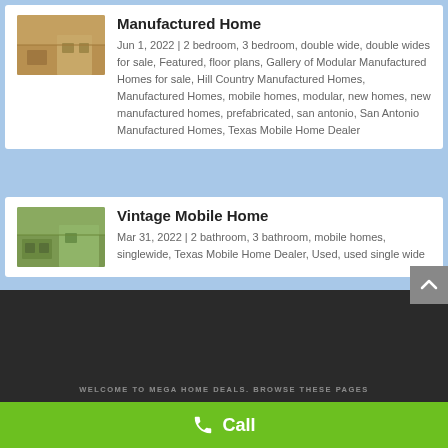Manufactured Home
Jun 1, 2022 | 2 bedroom, 3 bedroom, double wide, double wides for sale, Featured, floor plans, Gallery of Modular Manufactured Homes for sale, Hill Country Manufactured Homes, Manufactured Homes, mobile homes, modular, new homes, new manufactured homes, prefabricated, san antonio, San Antonio Manufactured Homes, Texas Mobile Home Dealer
Vintage Mobile Home
Mar 31, 2022 | 2 bathroom, 3 bathroom, mobile homes, singlewide, Texas Mobile Home Dealer, Used, used single wide
WELCOME TO MEGA HOME DEALS. BROWSE THESE PAGES
Call